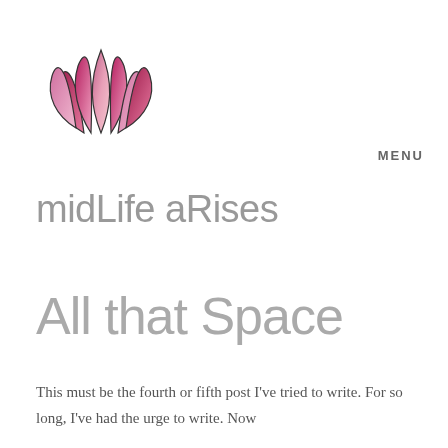[Figure (logo): Lotus flower logo with pink and magenta petals, stylized illustration]
MENU
midLife aRises
All that Space
This must be the fourth or fifth post I've tried to write. For so long, I've had the urge to write. Now